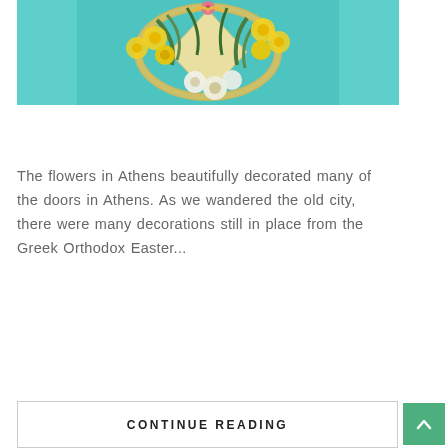[Figure (photo): A colorful flower wreath decoration with yellow, white flowers and green foliage hanging on a turquoise/teal painted door]
The flowers in Athens beautifully decorated many of the doors in Athens. As we wandered the old city, there were many decorations still in place from the Greek Orthodox Easter...
CONTINUE READING